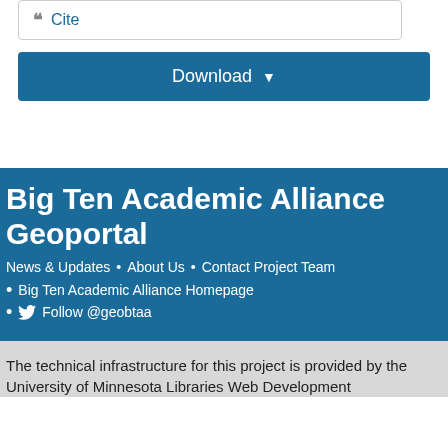Cite
Download
Big Ten Academic Alliance Geoportal
News & Updates • About Us • Contact Project Team
Big Ten Academic Alliance Homepage
Follow @geobtaa
The technical infrastructure for this project is provided by the University of Minnesota Libraries Web Development